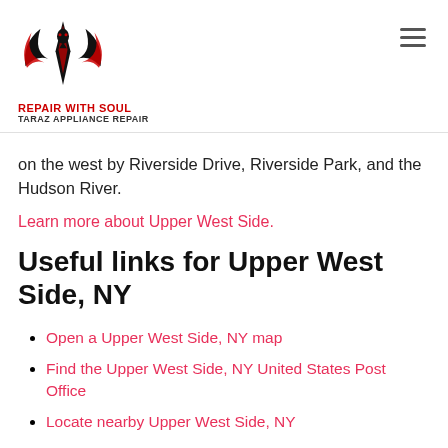[Figure (logo): Repair With Soul / Taraz Appliance Repair logo — a stylized black and red eagle/phoenix over a diamond shape, with red text 'REPAIR WITH SOUL' and black text 'TARAZ APPLIANCE REPAIR' below.]
on the west by Riverside Drive, Riverside Park, and the Hudson River.
Learn more about Upper West Side.
Useful links for Upper West Side, NY
Open a Upper West Side, NY map
Find the Upper West Side, NY United States Post Office
Locate nearby Upper West Side, NY